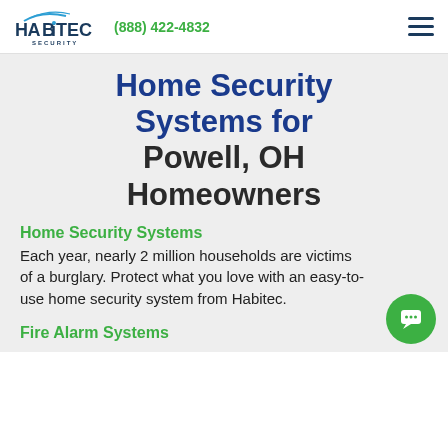HABITEC SECURITY (888) 422-4832
Home Security Systems for Powell, OH Homeowners
Home Security Systems
Each year, nearly 2 million households are victims of a burglary. Protect what you love with an easy-to-use home security system from Habitec.
Fire Alarm Systems